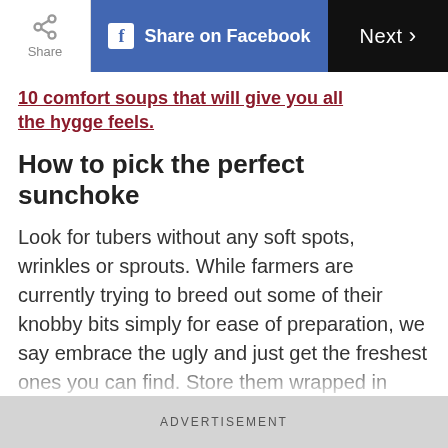Share | Share on Facebook | Next >
10 comfort soups that will give you all the hygge feels.
How to pick the perfect sunchoke
Look for tubers without any soft spots, wrinkles or sprouts. While farmers are currently trying to breed out some of their knobby bits simply for ease of preparation, we say embrace the ugly and just get the freshest ones you can find. Store them wrapped in paper towel,
ADVERTISEMENT